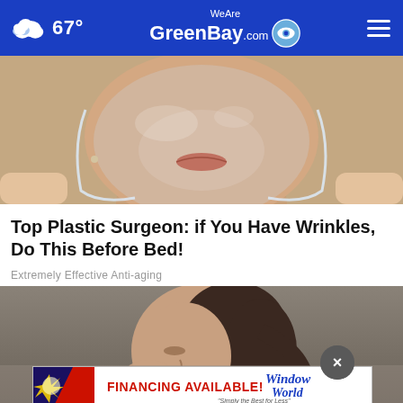WeAreGreenBay.com — 67°
[Figure (photo): Close-up of a woman's lower face and chin with a transparent/gel face mask being peeled off, anti-aging skincare context]
Top Plastic Surgeon: if You Have Wrinkles, Do This Before Bed!
Extremely Effective Anti-aging
[Figure (photo): Woman holding her head in pain or distress, side profile view, dark hair]
[Figure (other): Window World advertisement banner: FINANCING AVAILABLE! Window World 'Simply the Best for Less']